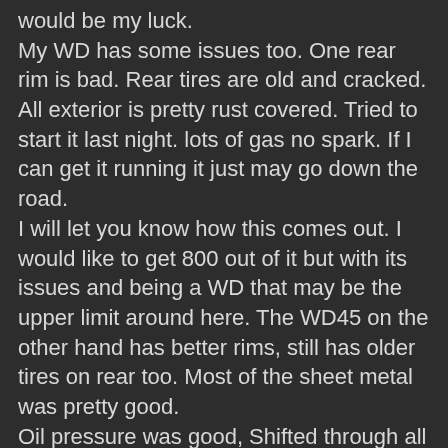would be my luck.
My WD has some issues too. One rear rim is bad. Rear tires are old and cracked. All exterior is pretty rust covered. Tried to start it last night. lots of gas no spark. If I can get it running it just may go down the road.
I will let you know how this comes out. I would like to get 800 out of it but with its issues and being a WD that may be the upper limit around here. The WD45 on the other hand has better rims, still has older tires on rear too. Most of the sheet metal was pretty good.
Oil pressure was good, Shifted through all gears ok. Was balking and stalling a lot. 12 volt alt conversion. Batt box mostly gone. Wiring old. had 6 v coil with ballast resistor.
Started up ok but again stalled under load often.